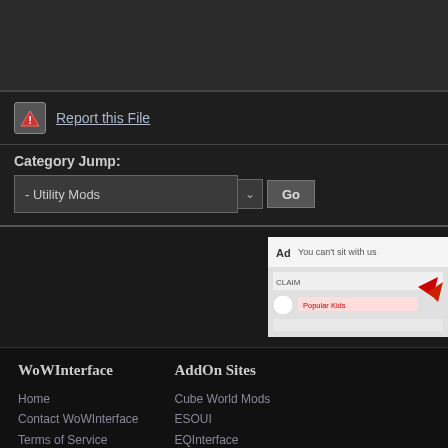[Figure (screenshot): Dark top banner area]
Report this File
Category Jump: - Utility Mods Go
[Figure (screenshot): Advertisement image showing 'You can't sit with us' ad]
WoWInterface
Home
Contact WoWInterface
Terms of Service
Privacy Statement
Top
AddOn Sites
Cube World Mods
ESOUI
EQInterface
EQ2Interface
LotROInterface
Riftui
SecretUI
Swtorui
WoWInterface